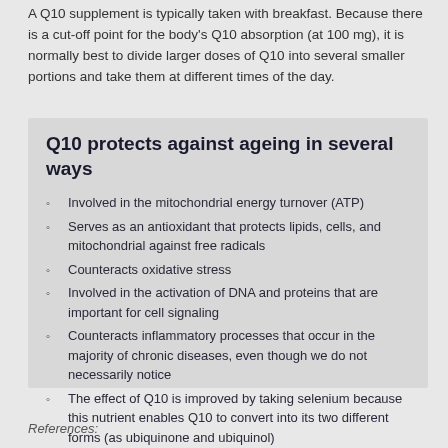A Q10 supplement is typically taken with breakfast. Because there is a cut-off point for the body's Q10 absorption (at 100 mg), it is normally best to divide larger doses of Q10 into several smaller portions and take them at different times of the day.
Q10 protects against ageing in several ways
Involved in the mitochondrial energy turnover (ATP)
Serves as an antioxidant that protects lipids, cells, and mitochondrial against free radicals
Counteracts oxidative stress
Involved in the activation of DNA and proteins that are important for cell signaling
Counteracts inflammatory processes that occur in the majority of chronic diseases, even though we do not necessarily notice
The effect of Q10 is improved by taking selenium because this nutrient enables Q10 to convert into its two different forms (as ubiquinone and ubiquinol)
References: